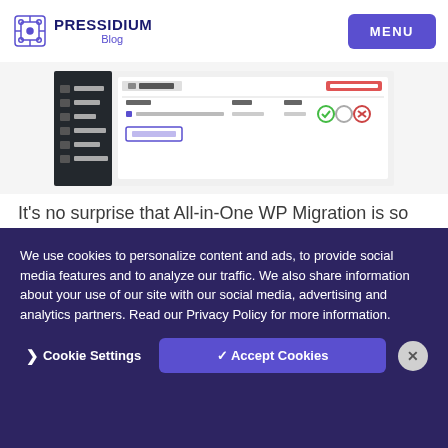PRESSIDIUM Blog | MENU
[Figure (screenshot): WordPress admin dashboard showing the Backups panel with a backup entry, date, size, and restore/delete buttons, along with a sidebar menu with items: Posts, Media, Pages, Comments, Contact, Appearance.]
It's no surprise that All-in-One WP Migration is so popular. It's an easy-to-use and free WordPress backup plugin!
We use cookies to personalize content and ads, to provide social media features and to analyze our traffic. We also share information about your use of our site with our social media, advertising and analytics partners. Read our Privacy Policy for more information.
❯ Cookie Settings   ✓ Accept Cookies